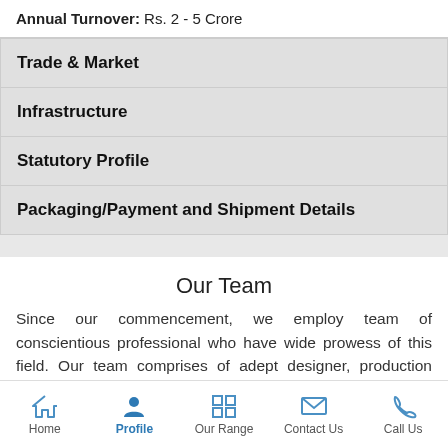Annual Turnover: Rs. 2 - 5 Crore
Trade & Market
Infrastructure
Statutory Profile
Packaging/Payment and Shipment Details
Our Team
Since our commencement, we employ team of conscientious professional who have wide prowess of this field. Our team comprises of adept designer, production engineer, quality controller, management professional and other subordinates.
Home | Profile | Our Range | Contact Us | Call Us